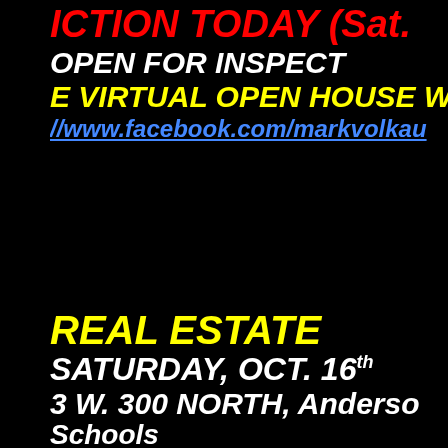ICTION TODAY (Sat.
OPEN FOR INSPECT
E VIRTUAL OPEN HOUSE W
//www.facebook.com/markvolkau
REAL ESTATE
SATURDAY, OCT. 16th
3 W. 300 NORTH, Anderso
Schools
[Figure (photo): Outdoor photo of trees and foliage with a large red SOLD overlay text]